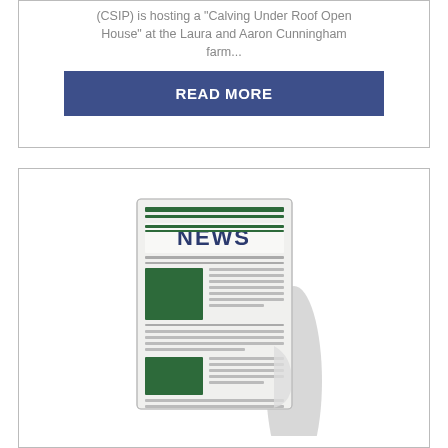(CSIP) is hosting a "Calving Under Roof Open House" at the Laura and Aaron Cunningham farm...
READ MORE
[Figure (illustration): A stylized newspaper icon with 'NEWS' headline, green accents, folded newspaper graphic with columns and blocks of text depicted]